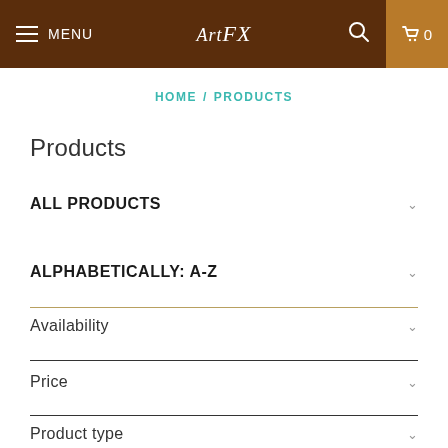MENU  Art FX  0
HOME / PRODUCTS
Products
ALL PRODUCTS
ALPHABETICALLY: A-Z
Availability
Price
Product type
Collections